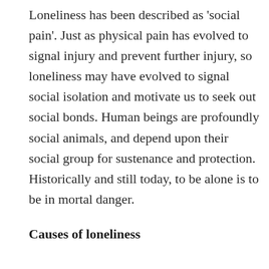Loneliness has been described as 'social pain'. Just as physical pain has evolved to signal injury and prevent further injury, so loneliness may have evolved to signal social isolation and motivate us to seek out social bonds. Human beings are profoundly social animals, and depend upon their social group for sustenance and protection. Historically and still today, to be alone is to be in mortal danger.
Causes of loneliness
The infant is especially dependent upon